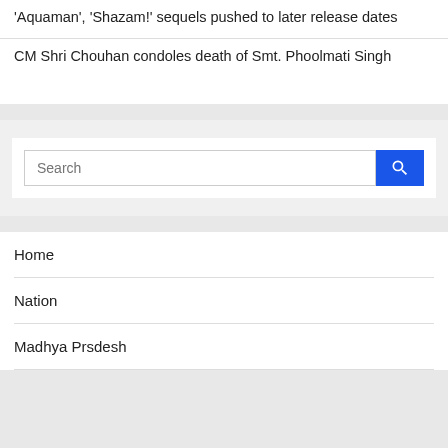'Aquaman', 'Shazam!' sequels pushed to later release dates
CM Shri Chouhan condoles death of Smt. Phoolmati Singh
Search
Home
Nation
Madhya Prsdesh